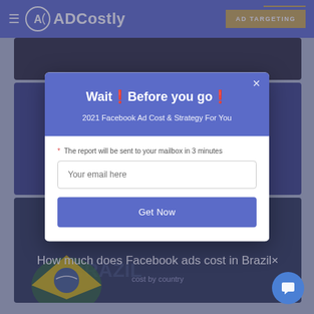ADCostly | AD TARGETING
[Figure (screenshot): Website screenshot showing ADCostly navigation bar with hamburger menu, logo, and AD TARGETING button]
Wait❗Before you go❗
2021 Facebook Ad Cost & Strategy For You
* The report will be sent to your mailbox in 3 minutes
Your email here
Get Now
How much does Facebook ads cost in Brazil×
cost by country